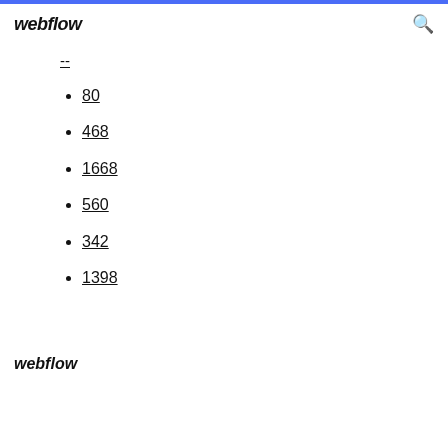webflow
--
80
468
1668
560
342
1398
webflow